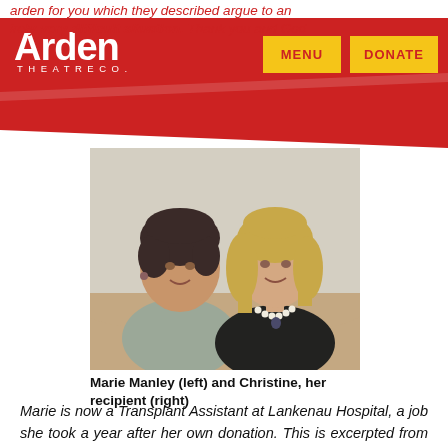Arden Theatre Co. | MENU | DONATE
arden for you which they described argue to an ire ly very difficult situation. Thank you and God
[Figure (photo): Photo of two women seated together on a couch, smiling. The woman on the left has short dark hair and a gray top. The woman on the right has shoulder-length blonde hair and a black top with a pearl necklace.]
Marie Manley (left) and Christine, her recipient (right)
Marie is now a Transplant Assistant at Lankenau Hospital, a job she took a year after her own donation. This is excerpted from a talk she gives